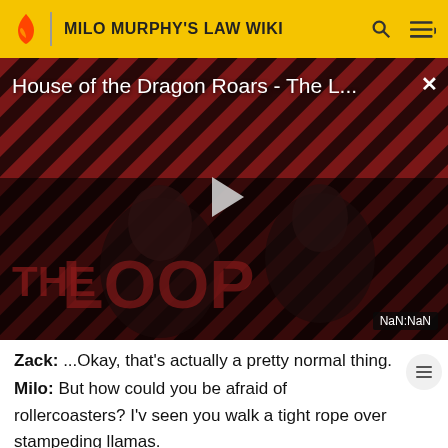MILO MURPHY'S LAW WIKI
[Figure (screenshot): Video player showing 'House of the Dragon Roars - The L...' with a play button, THE LOOP branding, dark striped background, two figures visible, NaN:NaN timestamp, and a close (X) button.]
Zack: ...Okay, that's actually a pretty normal thing.
Milo: But how could you be afraid of rollercoasters? I've seen you walk a tight rope over stampeding llamas.
...Powdered sugar.
(Powdered sugar billows over them. Melissa starts having